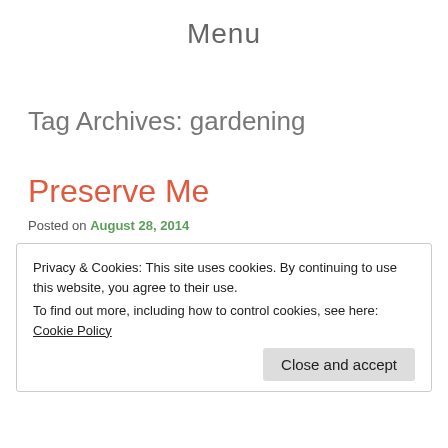Menu
Tag Archives: gardening
Preserve Me
Posted on August 28, 2014
Privacy & Cookies: This site uses cookies. By continuing to use this website, you agree to their use.
To find out more, including how to control cookies, see here: Cookie Policy
Close and accept